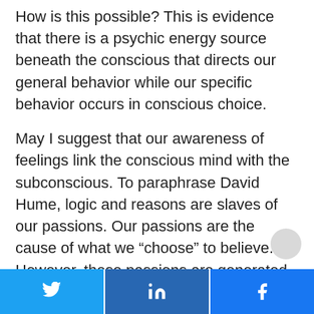How is this possible? This is evidence that there is a psychic energy source beneath the conscious that directs our general behavior while our specific behavior occurs in conscious choice.
May I suggest that our awareness of feelings link the conscious mind with the subconscious. To paraphrase David Hume, logic and reasons are slaves of our passions. Our passions are the cause of what we “choose” to believe. However, these passions are generated from our innate blueprint of our psyche offering...
[Figure (other): Social sharing bar with Twitter, LinkedIn, and Facebook buttons at the bottom of the page]